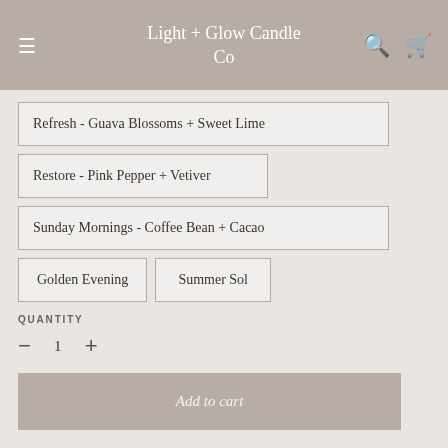Light + Glow Candle Co
Refresh - Guava Blossoms + Sweet Lime
Restore - Pink Pepper + Vetiver
Sunday Mornings - Coffee Bean + Cacao
Golden Evening
Summer Sol
QUANTITY
− 1 +
Add to cart